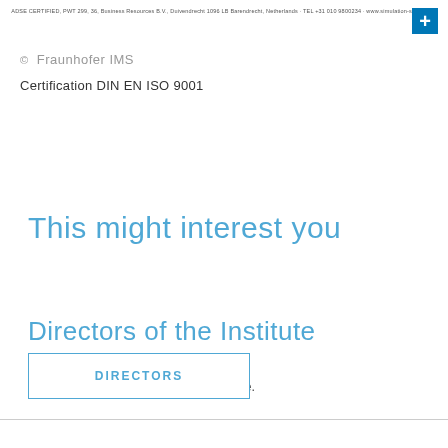ADSE CERTIFIED, PWT 299, 36, Business Resources B.V., Duivendrecht 1096 LB Barendrecht, Netherlands · TEL +31 010 9800234 · www.simulation-specialists
© Fraunhofer IMS
Certification DIN EN ISO 9001
This might interest you
Directors of the Institute
Find out who runs our research institute.
DIRECTORS